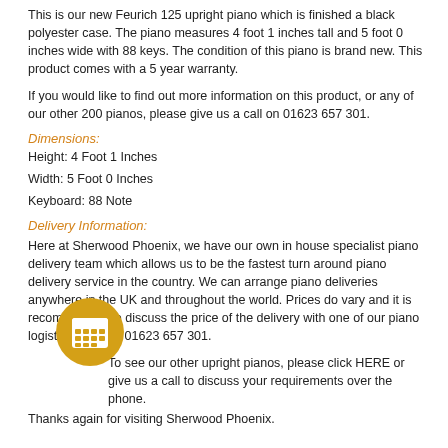This is our new Feurich 125 upright piano which is finished a black polyester case. The piano measures 4 foot 1 inches tall and 5 foot 0 inches wide with 88 keys. The condition of this piano is brand new. This product comes with a 5 year warranty.
If you would like to find out more information on this product, or any of our other 200 pianos, please give us a call on 01623 657 301.
Dimensions:
Height: 4 Foot 1 Inches
Width: 5 Foot 0 Inches
Keyboard: 88 Note
Delivery Information:
Here at Sherwood Phoenix, we have our own in house specialist piano delivery team which allows us to be the fastest turn around piano delivery service in the country. We can arrange piano deliveries anywhere in the UK and throughout the world. Prices do vary and it is recommended to discuss the price of the delivery with one of our piano logistics team on 01623 657 301.
[Figure (illustration): Gold/yellow circular calendar icon with grid of squares inside]
To see our other upright pianos, please click HERE or give us a call to discuss your requirements over the phone.
Thanks again for visiting Sherwood Phoenix.